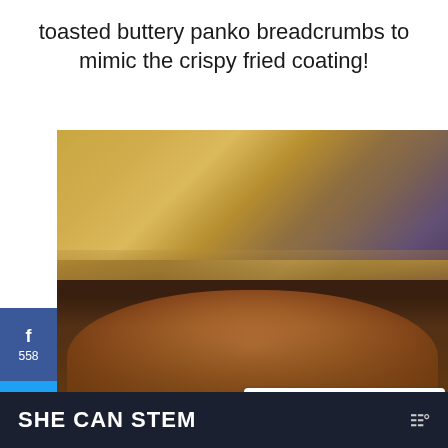toasted buttery panko breadcrumbs to mimic the crispy fried coating!
[Figure (photo): Close-up food photo of toasted panko breadcrumbs in a dark bowl, with blurred bread/food in background. Social sharing sidebar on left showing Facebook (558), Twitter, Pinterest (16898). Heart/save button showing 17.6K and share button on right. 'What's Next: Air Fryer Fried Pickles...' overlay bottom right.]
SHE CAN STEM